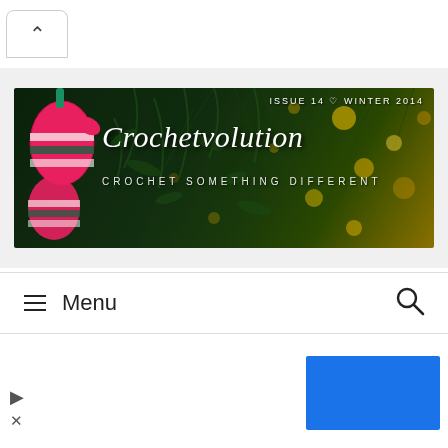[Figure (screenshot): Browser tab/back button area at top of page]
[Figure (photo): Crochetvolution magazine banner: winter Christmas scene with crocheted mittens on left, dark evergreen tree background with gold bokeh lights. Text reads 'ISSUE 14 WINTER 2014', 'Crochetvolution', 'CROCHET SOMETHING DIFFERENT']
≡ Menu
[Figure (screenshot): Advertisement area with blue rectangular block on right side, play/arrow icon and X dismiss icon on left]